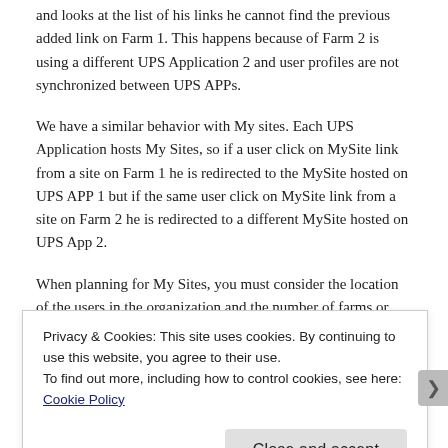and looks at the list of his links he cannot find the previous added link on Farm 1. This happens because of Farm 2 is using a different UPS Application 2 and user profiles are not synchronized between UPS APPs.
We have a similar behavior with My sites. Each UPS Application hosts My Sites, so if a user click on MySite link from a site on Farm 1 he is redirected to the MySite hosted on UPS APP 1 but if the same user click on MySite link from a site on Farm 2 he is redirected to a different MySite hosted on UPS App 2.
When planning for My Sites, you must consider the location of the users in the organization and the number of farms or User Profile service applications that will host My Sites. If you have more than one
Privacy & Cookies: This site uses cookies. By continuing to use this website, you agree to their use.
To find out more, including how to control cookies, see here: Cookie Policy